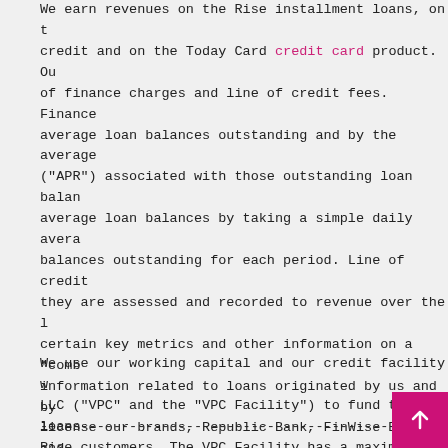We earn revenues on the Rise installment loans, on the line of credit and on the Today Card credit card product. Our revenues consist of finance charges and line of credit fees. Finance charges are driven by average loan balances outstanding and by the average annual percentage rate ("APR") associated with those outstanding loan balances. We calculate average loan balances by taking a simple daily average of the principal balances outstanding for each period. Line of credit fees are recognized when they are assessed and recorded to revenue over the life of the loan. We provide certain key metrics and other information on a "combined" basis, which includes information related to loans originated by us and by the banks that license our brands, Republic Bank, FinWise Bank and Capital Community Bank ("CCB"), as well as loans originated by third-party lenders through CSO programs, which loans originated through CSO programs are not reported on our balance sheets in accordance with US GAAP. See "-Key Performance Metrics" and "-Non-GAAP Financial Measures."
We use our working capital and our credit facility with Victory Park Capital, LLC ("VPC" and the "VPC Facility") to fund the loans we make directly to Rise customers. The VPC Facility has a maximum total commitment amount of $200 million at December 31, 2021. See "-Liquidity" for a description of these facilities.
44